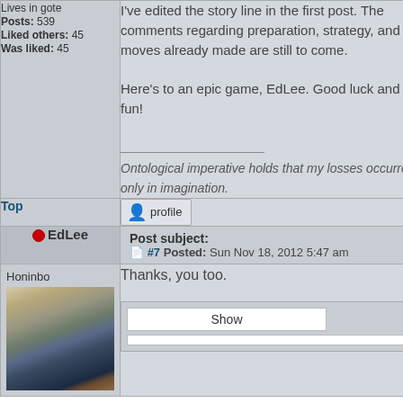Lives in gote
Posts: 539
Liked others: 45
Was liked: 45
I've edited the story line in the first post. The comments regarding preparation, strategy, and the moves already made are still to come.

Here's to an epic game, EdLee. Good luck and have fun!

___________________
Ontological imperative holds that my losses occurred only in imagination.
Top
profile
EdLee
Post subject:
#7 Posted: Sun Nov 18, 2012 5:47 am
Honinbo
Thanks, you too.
[Figure (photo): Photo of a person (EdLee) playing go/baduk board game, wearing glasses and a striped shirt, leaning over the board with go stones visible.]
Show